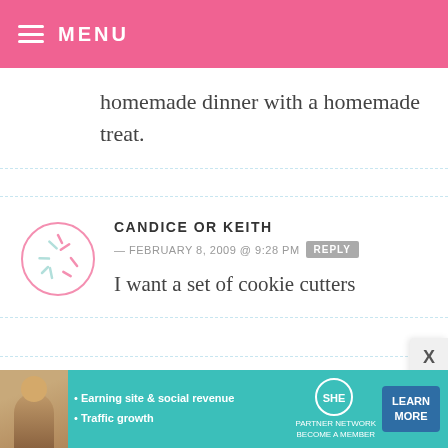MENU
homemade dinner with a homemade treat.
CANDICE OR KEITH — FEBRUARY 8, 2009 @ 9:28 PM REPLY
I want a set of cookie cutters
DAWNB — FEBRUARY 8, 2009 @ 9:27 PM REPLY
well, unfortunately we have a wedding
[Figure (infographic): Advertisement banner for SHE Partner Network featuring text: Earning site & social revenue, Traffic growth, SHE PARTNER NETWORK, BECOME A MEMBER, LEARN MORE button]